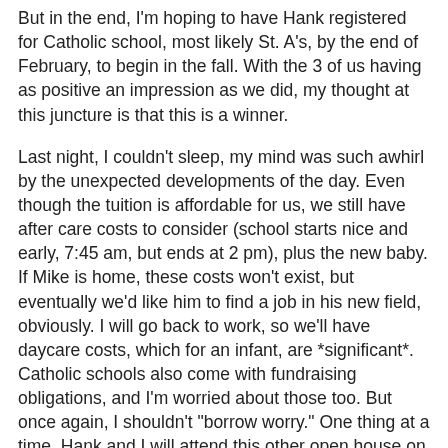But in the end, I'm hoping to have Hank registered for Catholic school, most likely St. A's, by the end of February, to begin in the fall. With the 3 of us having as positive an impression as we did, my thought at this juncture is that this is a winner.
Last night, I couldn't sleep, my mind was such awhirl by the unexpected developments of the day. Even though the tuition is affordable for us, we still have after care costs to consider (school starts nice and early, 7:45 am, but ends at 2 pm), plus the new baby. If Mike is home, these costs won't exist, but eventually we'd like him to find a job in his new field, obviously. I will go back to work, so we'll have daycare costs, which for an infant, are *significant*. Catholic schools also come with fundraising obligations, and I'm worried about those too. But once again, I shouldn't "borrow worry." One thing at a time. Hank and I will attend this other open house on Thursday, we'll let a week or so of thinking time go by, and we'll make a decision. And then we'll go from there.
But overall, I'm feeling much, much better about schooling issues. And despite all the uncertainty with Mike's future employment, I know one thing about Hank. Everything is...